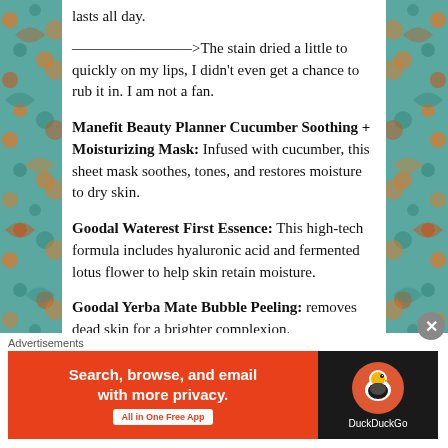lasts all day.
————————>The stain dried a little to quickly on my lips, I didn't even get a chance to rub it in. I am not a fan.
Manefit Beauty Planner Cucumber Soothing + Moisturizing Mask: Infused with cucumber, this sheet mask soothes, tones, and restores moisture to dry skin.
Goodal Waterest First Essence: This high-tech formula includes hyaluronic acid and fermented lotus flower to help skin retain moisture.
Goodal Yerba Mate Bubble Peeling: removes dead skin for a brighter complexion.
Goodal Yerba Mate Cleansing foam: balances oil and
[Figure (other): DuckDuckGo advertisement banner: orange left section with 'Search, browse, and email with more privacy. All in One Free App' and dark right section with DuckDuckGo logo]
Advertisements